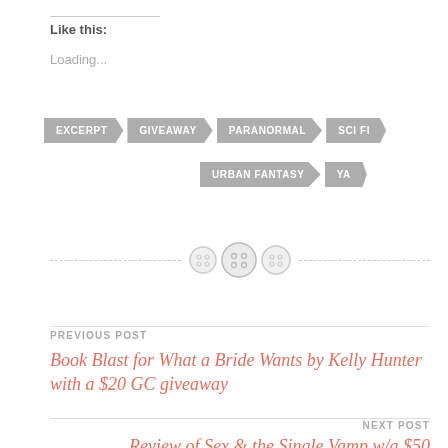Like this:
Loading...
EXCERPT
GIVEAWAY
PARANORMAL
SCI FI
URBAN FANTASY
YA
[Figure (illustration): Three decorative button icons on a dashed horizontal divider line]
PREVIOUS POST
Book Blast for What a Bride Wants by Kelly Hunter with a $20 GC giveaway
NEXT POST
Review of Sex & the Single Vamp w/a $50